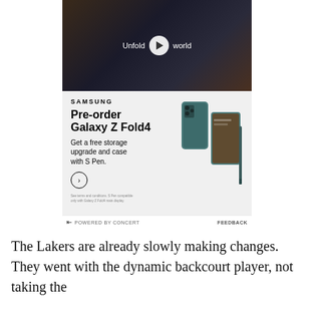[Figure (screenshot): Samsung Galaxy Z Fold4 advertisement with video thumbnail showing a person holding a foldable phone, play button overlay with text 'Unfold your world', Samsung branding, pre-order offer text, phone product image, and 'POWERED BY CONCERT' / 'FEEDBACK' footer bar]
The Lakers are already slowly making changes. They went with the dynamic backcourt player, not taking the